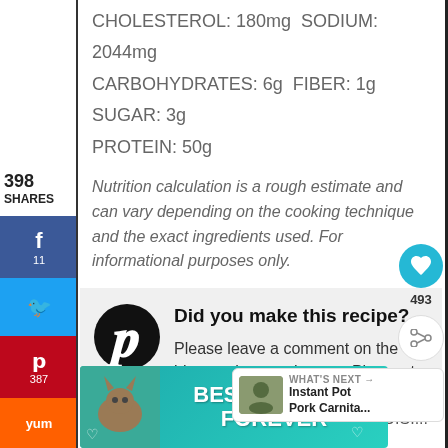CHOLESTEROL: 180mg SODIUM: 2044mg
CARBOHYDRATES: 6g FIBER: 1g SUGAR: 3g
PROTEIN: 50g
398 SHARES
Nutrition calculation is a rough estimate and can vary depending on the cooking technique and the exact ingredients used. For informational purposes only.
Did you make this recipe? Please leave a comment on the blog or share a photo on Pinterest
Dana
CUISI...
493
[Figure (infographic): Best Friends Forever cat advertisement banner in teal color]
WHAT'S NEXT → Instant Pot Pork Carnita...